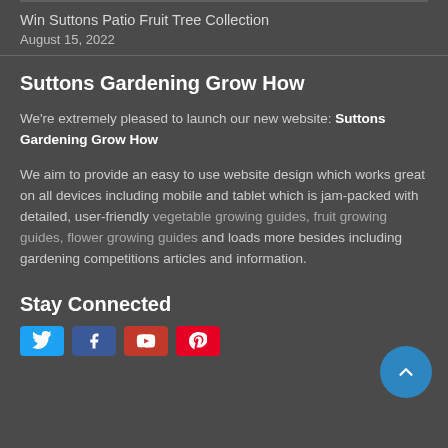Win Suttons Patio Fruit Tree Collection
August 15, 2022
Suttons Gardening Grow How
We're extremely pleased to launch our new website: Suttons Gardening Grow How
We aim to provide an easy to use website design which works great on all devices including mobile and tablet which is jam-packed with detailed, user-friendly vegetable growing guides, fruit growing guides, flower growing guides and loads more besides including gardening competitions articles and information.
Stay Connected
[Figure (other): Social media icon buttons: Twitter (blue), Facebook (dark blue), YouTube (red), Pinterest (red)]
[Figure (other): Scroll to top button - circular blue button with upward chevron arrow]